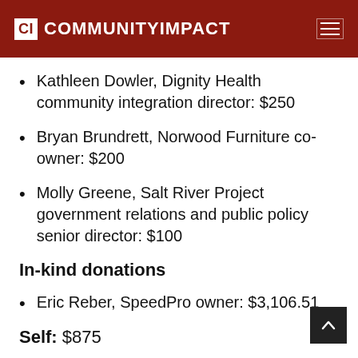CI COMMUNITYIMPACT
Kathleen Dowler, Dignity Health community integration director: $250
Bryan Brundrett, Norwood Furniture co-owner: $200
Molly Greene, Salt River Project government relations and public policy senior director: $100
In-kind donations
Eric Reber, SpeedPro owner: $3,106.51
Self: $875